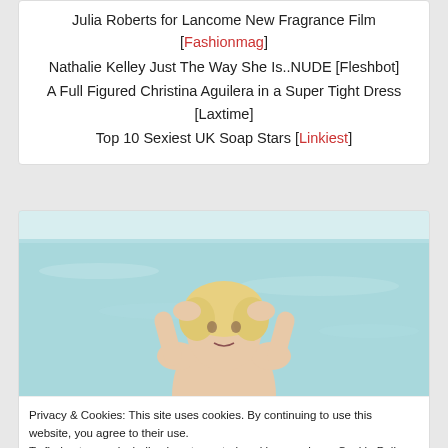Julia Roberts for Lancome New Fragrance Film [Fashionmag]
Nathalie Kelley Just The Way She Is..NUDE [Fleshbot]
A Full Figured Christina Aguilera in a Super Tight Dress [Laxtime]
Top 10 Sexiest UK Soap Stars [Linkiest]
[Figure (photo): Woman standing in a swimming pool with hands on head, water and pool edge visible in background]
Privacy & Cookies: This site uses cookies. By continuing to use this website, you agree to their use. To find out more, including how to control cookies, see here: Cookie Policy
Close and accept